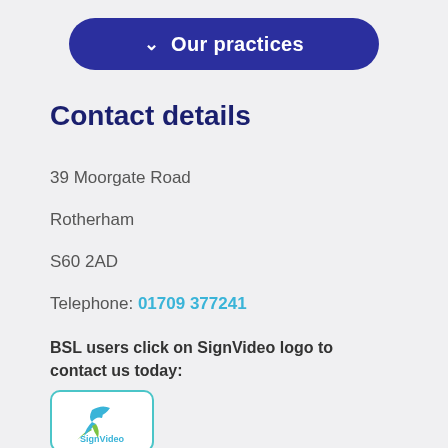Our practices
Contact details
39 Moorgate Road
Rotherham
S60 2AD
Telephone: 01709 377241
BSL users click on SignVideo logo to contact us today:
[Figure (logo): SignVideo logo with stylized bird/hands icon in teal and green, with the text SignVideo below]